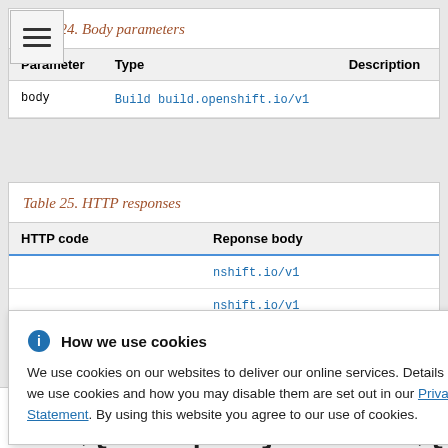Table 24. Body parameters
| Parameter | Type | Description |
| --- | --- | --- |
| body | Build build.openshift.io/v1 |  |
Table 25. HTTP responses
| HTTP code | Reponse body |
| --- | --- |
|  | ...nshift.io/v1 |
|  | ...nshift.io/v1 |
How we use cookies
We use cookies on our websites to deliver our online services. Details about how we use cookies and how you may disable them are set out in our Privacy Statement. By using this website you agree to our use of cookies.
/...amespa ces/${namespace}/builds/${name}/lo